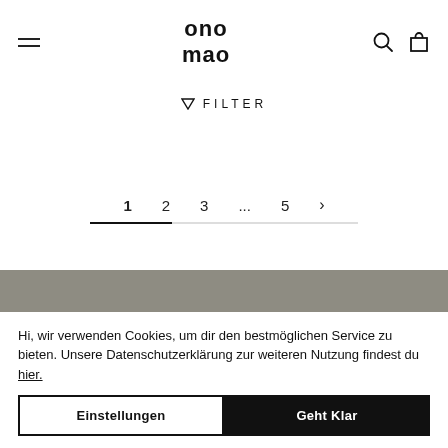onomao — navigation header with hamburger menu, logo, search and cart icons
▽ FILTER
1  2  3  ...  5  >
[Figure (other): Gray banner/image placeholder]
Hi, wir verwenden Cookies, um dir den bestmöglichen Service zu bieten. Unsere Datenschutzerklärung zur weiteren Nutzung findest du hier.
Einstellungen   Geht Klar